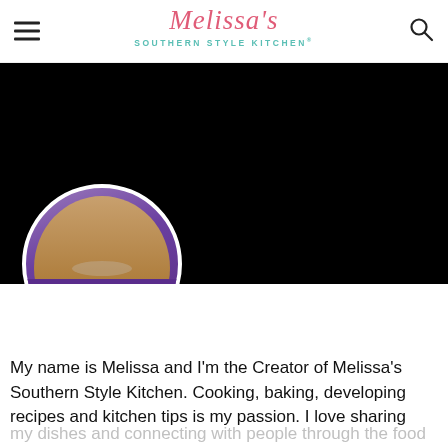Melissa's Southern Style Kitchen®
[Figure (photo): Black background hero image at top of page with a circular profile photo of Melissa, a woman with blonde hair wearing a purple top with floral necklace detail, cropped at the bottom of the black area]
My name is Melissa and I'm the Creator of Melissa's Southern Style Kitchen. Cooking, baking, developing recipes and kitchen tips is my passion. I love sharing my dishes and connecting with people through the food that I create.